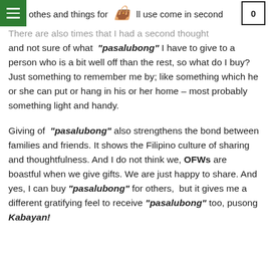othes and things for [logo] ll use come in second 0
There are also times that I had a second thought and not sure of what "pasalubong" I have to give to a person who is a bit well off than the rest, so what do I buy? Just something to remember me by; like something which he or she can put or hang in his or her home – most probably something light and handy.
Giving of "pasalubong" also strengthens the bond between families and friends. It shows the Filipino culture of sharing and thoughtfulness. And I do not think we, OFWs are boastful when we give gifts. We are just happy to share. And yes, I can buy "pasalubong" for others, but it gives me a different gratifying feel to receive "pasalubong" too, pusong Kabayan!